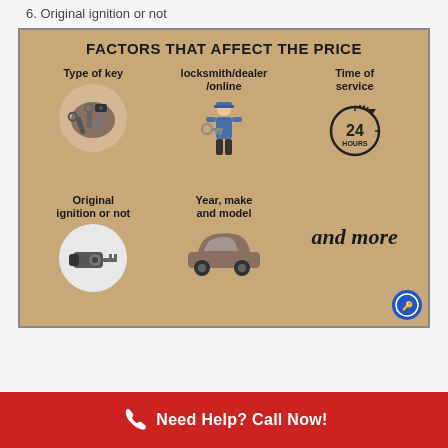6. Original ignition or not
[Figure (infographic): Infographic on tan/khaki background titled 'FACTORS THAT AFFECT THE PRICE' showing 5 factors with icons: Type of key (car keys image), locksmith/dealer/online (locksmith figure with key), Time of service (24 hours clock), Original ignition or not (ignition key image), Year, make and model (car silhouette), and 'and more' text. Small circular logo in bottom right corner.]
Need Help? Call Now!